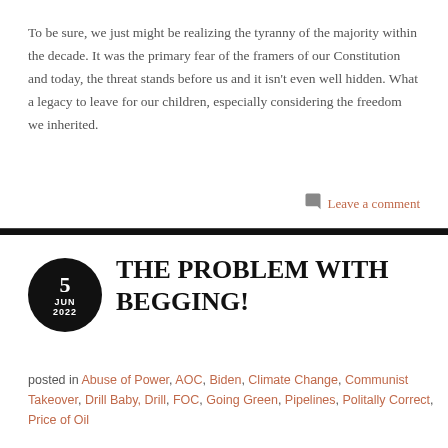To be sure, we just might be realizing the tyranny of the majority within the decade. It was the primary fear of the framers of our Constitution and today, the threat stands before us and it isn't even well hidden. What a legacy to leave for our children, especially considering the freedom we inherited.
Leave a comment
THE PROBLEM WITH BEGGING!
posted in Abuse of Power, AOC, Biden, Climate Change, Communist Takeover, Drill Baby, Drill, FOC, Going Green, Pipelines, Politally Correct, Price of Oil